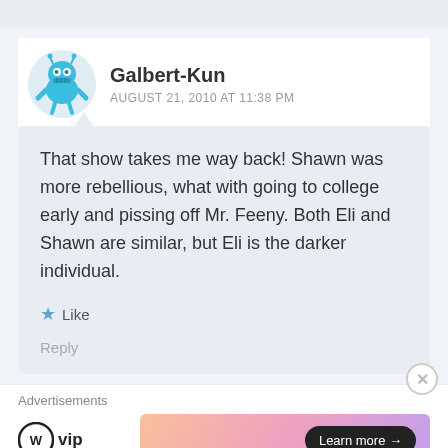Galbert-Kun
AUGUST 21, 2010 AT 11:38 PM
That show takes me way back! Shawn was more rebellious, what with going to college early and pissing off Mr. Feeny. Both Eli and Shawn are similar, but Eli is the darker individual.
Like
Reply
Advertisements
[Figure (logo): WordPress VIP logo — W circle icon with 'vip' text]
[Figure (illustration): Advertisement banner with gradient pink/orange background and 'Learn more →' button]